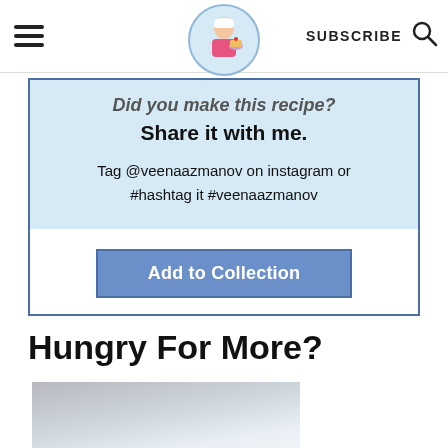SUBSCRIBE
Did you make this recipe? Share it with me.
Tag @veenaazmanov on instagram or #hashtag it #veenaazmanov
Add to Collection
Hungry For More?
[Figure (photo): Partial food/recipe photo cropped at bottom of page]